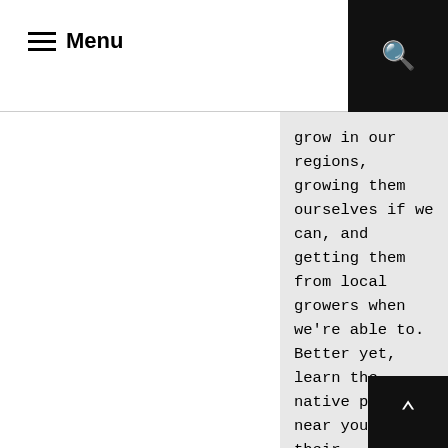Menu
grow in our regions, growing them ourselves if we can, and getting them from local growers when we're able to. Better yet, learn the native plants near you, learn their medicines,